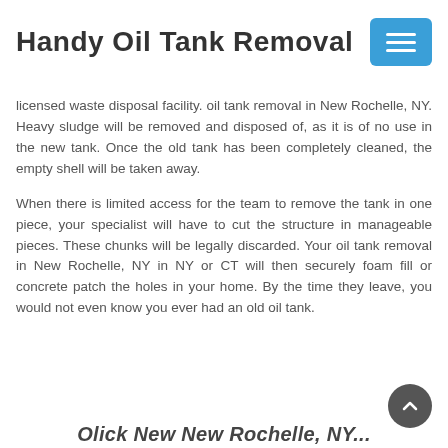Handy Oil Tank Removal
licensed waste disposal facility. oil tank removal in New Rochelle, NY. Heavy sludge will be removed and disposed of, as it is of no use in the new tank. Once the old tank has been completely cleaned, the empty shell will be taken away.
When there is limited access for the team to remove the tank in one piece, your specialist will have to cut the structure in manageable pieces. These chunks will be legally discarded. Your oil tank removal in New Rochelle, NY in NY or CT will then securely foam fill or concrete patch the holes in your home. By the time they leave, you would not even know you ever had an old oil tank.
Olick New New Rochelle, NY...